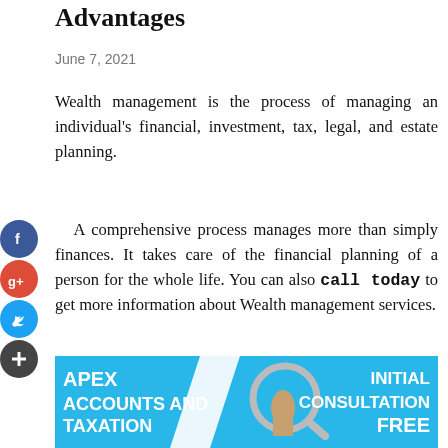Advantages
June 7, 2021
Wealth management is the process of managing an individual's financial, investment, tax, legal, and estate planning.
A comprehensive process manages more than simply finances. It takes care of the financial planning of a person for the whole life. You can also call today to get more information about Wealth management services.
[Figure (infographic): Apex Accounts and Taxation Services banner with blue background, white diagonal stripe, magnifying glass with hand, and text 'INITIAL CONSULTATION FREE' on the right side.]